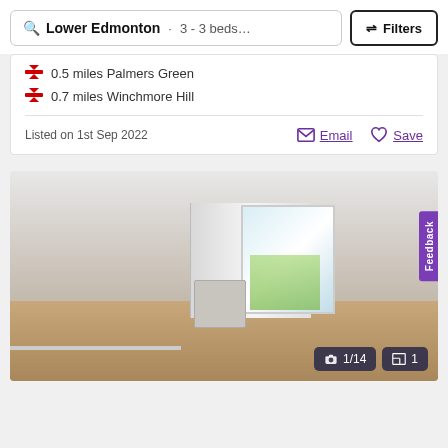Lower Edmonton · 3 - 3 beds… Filters
0.5 miles Palmers Green
0.7 miles Winchmore Hill
Listed on 1st Sep 2022
Email  Save
[Figure (photo): Interior photo of an empty living room with light grey walls, wooden laminate flooring, and a glass door/window at the back leading to a garden. A kitchen area is visible in the background. Photo counter shows 1/14 with 1 floorplan.]